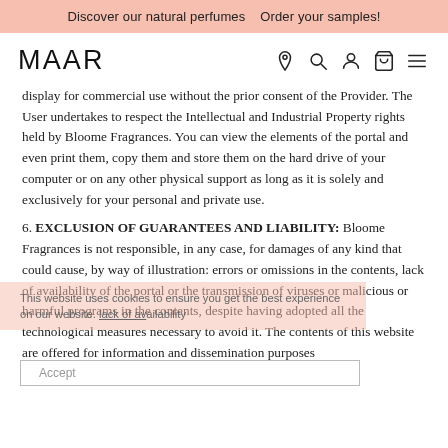Discover our natural perfumes   Order your samples!
[Figure (logo): MAAR logo on left, navigation icons (location pin, search, user, cart, hamburger menu) on right]
display for commercial use without the prior consent of the Provider. The User undertakes to respect the Intellectual and Industrial Property rights held by Bloome Fragrances. You can view the elements of the portal and even print them, copy them and store them on the hard drive of your computer or on any other physical support as long as it is solely and exclusively for your personal and private use.
6. EXCLUSION OF GUARANTEES AND LIABILITY: Bloome Fragrances is not responsible, in any case, for damages of any kind that could cause, by way of illustration: errors or omissions in the contents, lack of availability of the portal or the transmission of viruses or malicious or harmful programs in the contents, despite having adopted all the technological measures necessary to avoid it. The contents of this website are offered for information and dissemination purposes